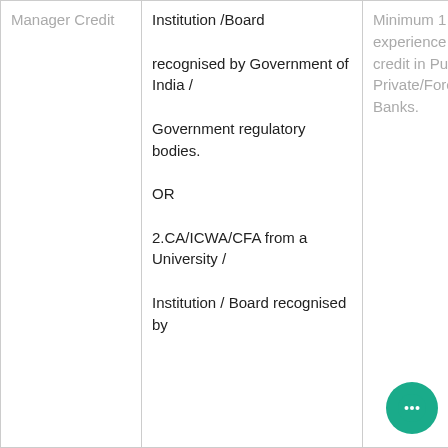| Position | Qualification | Experience |
| --- | --- | --- |
| Manager Credit | Institution /Board

recognised by Government of India /

Government regulatory bodies.

OR

2.CA/ICWA/CFA from a University /

Institution / Board recognised by | Minimum 1 year of experience in credit in Public Private/Foreign Banks. |